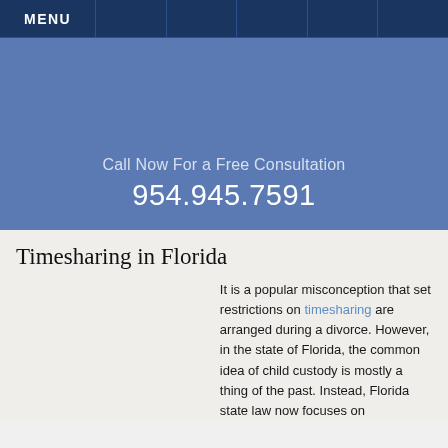MENU
Call Now For a Free Consultation
954.945.7591
Timesharing in Florida
It is a popular misconception that set restrictions on timesharing are arranged during a divorce. However, in the state of Florida, the common idea of child custody is mostly a thing of the past. Instead, Florida state law now focuses on